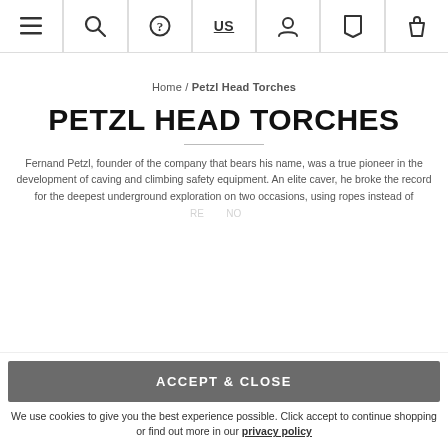Navigation bar with menu, search, help, US locale, account, bookmark, and cart icons
Home / Petzl Head Torches
PETZL HEAD TORCHES
Fernand Petzl, founder of the company that bears his name, was a true pioneer in the development of caving and climbing safety equipment. An elite caver, he broke the record for the deepest underground exploration on two occasions, using ropes instead of
ACCEPT & CLOSE
We use cookies to give you the best experience possible. Click accept to continue shopping or find out more in our privacy policy